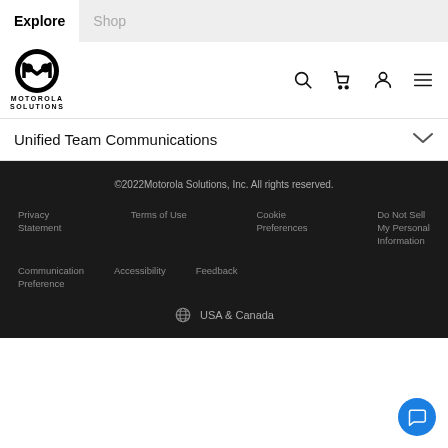Explore | Shop
[Figure (logo): Motorola Solutions logo — circular M badge with MOTOROLA SOLUTIONS text below]
Unified Team Communications
©2022Motorola Solutions, Inc. All rights reserved.
Privacy Statement | Terms of Use | Cookie Preferences | Do Not Sell My Personal Information
Communication Preference | Accessibility | Feedback
USA & Canada